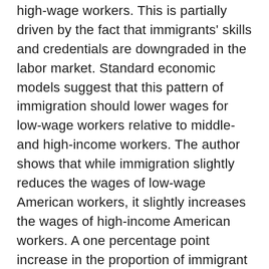high-wage workers. This is partially driven by the fact that immigrants' skills and credentials are downgraded in the labor market. Standard economic models suggest that this pattern of immigration should lower wages for low-wage workers relative to middle- and high-income workers. The author shows that while immigration slightly reduces the wages of low-wage American workers, it slightly increases the wages of high-income American workers. A one percentage point increase in the proportion of immigrant workers reduces the wages for workers in the bottom 10 percent of the wage distribution by roughly 0.1 percentage points and increases the wages of workers in the top 10 percent of the wage distribution by 0.3. The wages of middle-income workers remain largely unaffected. The small magnitudes of wage impacts suggest that immigration could have played, at most, a limited